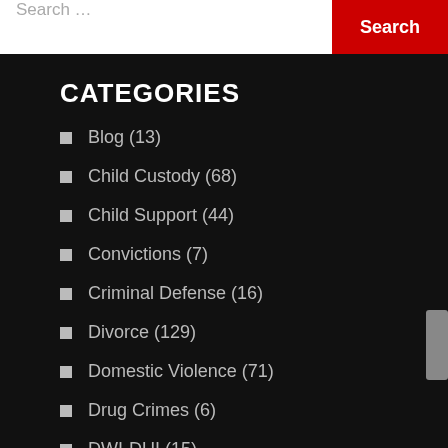Search ...
CATEGORIES
Blog (13)
Child Custody (68)
Child Support (44)
Convictions (7)
Criminal Defense (16)
Divorce (129)
Domestic Violence (71)
Drug Crimes (6)
DWI-DUI (15)